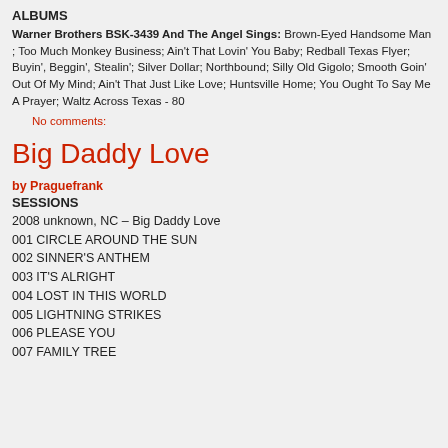ALBUMS
Warner Brothers BSK-3439 And The Angel Sings: Brown-Eyed Handsome Man ; Too Much Monkey Business; Ain't That Lovin' You Baby; Redball Texas Flyer; Buyin', Beggin', Stealin'; Silver Dollar; Northbound; Silly Old Gigolo; Smooth Goin' Out Of My Mind; Ain't That Just Like Love; Huntsville Home; You Ought To Say Me A Prayer; Waltz Across Texas - 80
No comments:
Big Daddy Love
by Praguefrank
SESSIONS
2008 unknown, NC – Big Daddy Love
001 CIRCLE AROUND THE SUN
002 SINNER'S ANTHEM
003 IT'S ALRIGHT
004 LOST IN THIS WORLD
005 LIGHTNING STRIKES
006 PLEASE YOU
007 FAMILY TREE